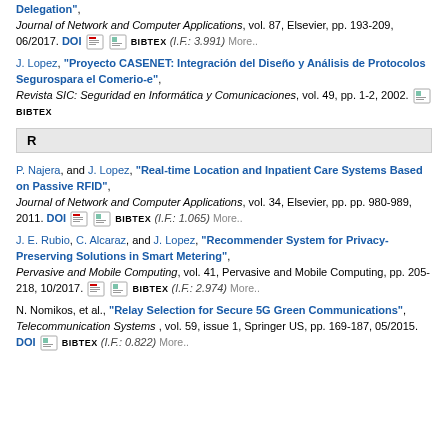J. Lopez, "Proyecto CASENET: Integración del Diseño y Análisis de Protocolos Segurospara el Comerio-e", Revista SIC: Seguridad en Informática y Comunicaciones, vol. 49, pp. 1-2, 2002. BIBTEX
R
P. Najera, and J. Lopez, "Real-time Location and Inpatient Care Systems Based on Passive RFID", Journal of Network and Computer Applications, vol. 34, Elsevier, pp. pp. 980-989, 2011. DOI BIBTEX (I.F.: 1.065) More..
J. E. Rubio, C. Alcaraz, and J. Lopez, "Recommender System for Privacy-Preserving Solutions in Smart Metering", Pervasive and Mobile Computing, vol. 41, Pervasive and Mobile Computing, pp. 205-218, 10/2017. BIBTEX (I.F.: 2.974) More..
N. Nomikos, et al., "Relay Selection for Secure 5G Green Communications", Telecommunication Systems, vol. 59, issue 1, Springer US, pp. 169-187, 05/2015. DOI BIBTEX (I.F.: 0.822) More..